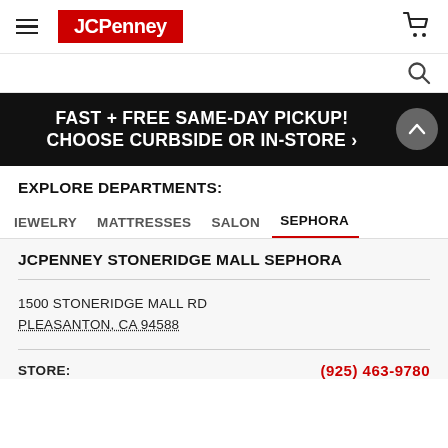JCPenney
[Figure (screenshot): JCPenney website header with hamburger menu, JCPenney logo in red box, and shopping cart icon on right]
FAST + FREE SAME-DAY PICKUP! CHOOSE CURBSIDE OR IN-STORE >
EXPLORE DEPARTMENTS:
JEWELRY  MATTRESSES  SALON  SEPHORA
JCPENNEY STONERIDGE MALL SEPHORA
1500 STONERIDGE MALL RD
PLEASANTON, CA 94588
STORE: (925) 463-9780